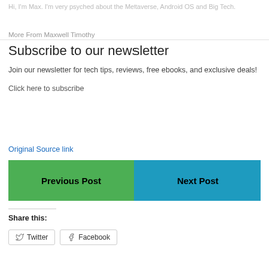Hi, I'm Max. I'm very psyched about the Metaverse, Android OS and Big Tech.
More From Maxwell Timothy
Subscribe to our newsletter
Join our newsletter for tech tips, reviews, free ebooks, and exclusive deals!
Click here to subscribe
Original Source link
Previous Post
Next Post
Share this:
Twitter
Facebook